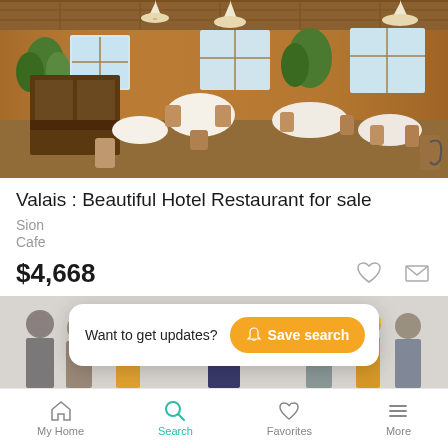[Figure (photo): Interior photo of a wooden hotel restaurant with pendant lights, round tables with white tablecloths, wooden chairs, and plants by windows]
Valais : Beautiful Hotel Restaurant for sale
Sion
Cafe
$4,668
[Figure (screenshot): Save search popup banner with text 'Want to get updates?' and yellow 'Save search' button with bell icon, overlaid on a group photo of people]
My Home  Search  Favorites  More